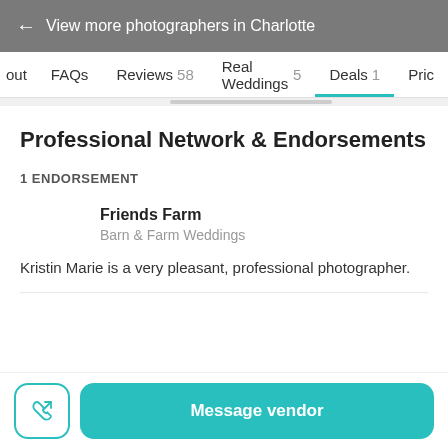← View more photographers in Charlotte
out   FAQs   Reviews 58   Real Weddings 5   Deals 1   Pric
Professional Network & Endorsements
1 ENDORSEMENT
Friends Farm
Barn & Farm Weddings
Kristin Marie is a very pleasant, professional photographer.
Message vendor